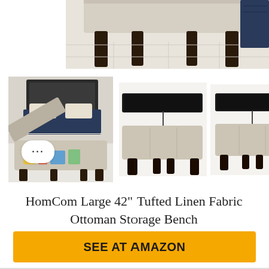[Figure (photo): Partial cropped photo of a beige tufted ottoman storage bench with dark legs on a light tile floor, with dark navy bedding visible on the right edge]
[Figure (photo): Three product photos of HomCom Large 42 inch Tufted Linen Fabric Ottoman Storage Bench: left thumbnail shows bench open with storage items inside in a bedroom setting; center shows bench with lid open from side view on white background; right shows bench with lid open from slightly different angle on white background. A speech bubble with three dots overlays the left thumbnail. A right-arrow navigation indicator is on the far right.]
HomCom Large 42” Tufted Linen Fabric Ottoman Storage Bench
SEE AT AMAZON